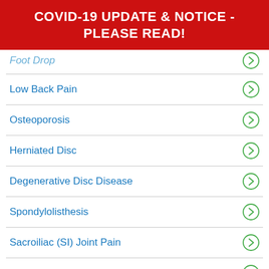COVID-19 UPDATE & NOTICE - PLEASE READ!
Foot Drop
Low Back Pain
Osteoporosis
Herniated Disc
Degenerative Disc Disease
Spondylolisthesis
Sacroiliac (SI) Joint Pain
Facet Syndrome
Spinal Stenosis